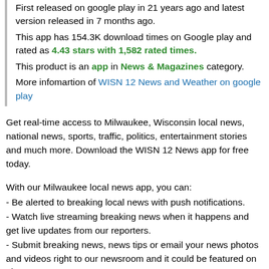First released on google play in 21 years ago and latest version released in 7 months ago. This app has 154.3K download times on Google play and rated as 4.43 stars with 1,582 rated times. This product is an app in News & Magazines category. More infomartion of WISN 12 News and Weather on google play
Get real-time access to Milwaukee, Wisconsin local news, national news, sports, traffic, politics, entertainment stories and much more. Download the WISN 12 News app for free today.
With our Milwaukee local news app, you can:
- Be alerted to breaking local news with push notifications.
- Watch live streaming breaking news when it happens and get live updates from our reporters.
- Submit breaking news, news tips or email your news photos and videos right to our newsroom and it could be featured on air.
- Check out current Milwaukee weather conditions, hourly and 7 day forecasts wherever you might be.